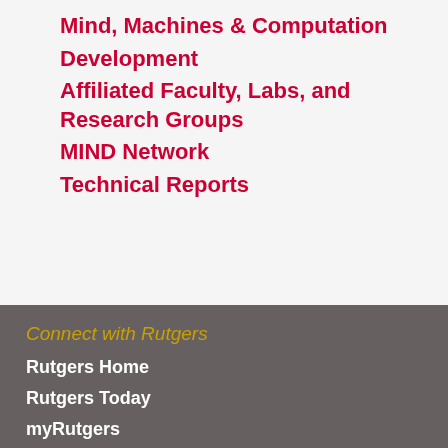Mind, Machines & Computation
Development
Affiliated Faculty, Labs, and Research Groups
MIND Network
Technical Reports
Connect with Rutgers
Rutgers Home
Rutgers Today
myRutgers
Academic Calendar
Calendar of Events
Explore SAS
SAS Home